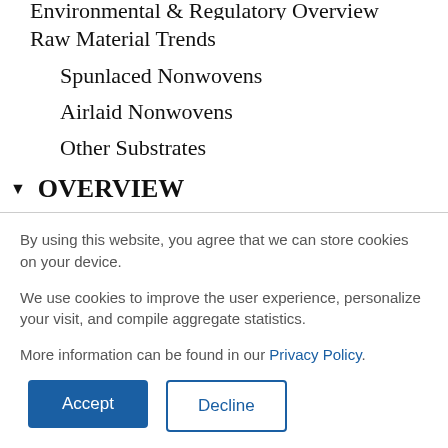Environmental & Regulatory Overview
Raw Material Trends
Spunlaced Nonwovens
Airlaid Nonwovens
Other Substrates
▼ OVERVIEW
By using this website, you agree that we can store cookies on your device.

We use cookies to improve the user experience, personalize your visit, and compile aggregate statistics.

More information can be found in our Privacy Policy.
Accept
Decline